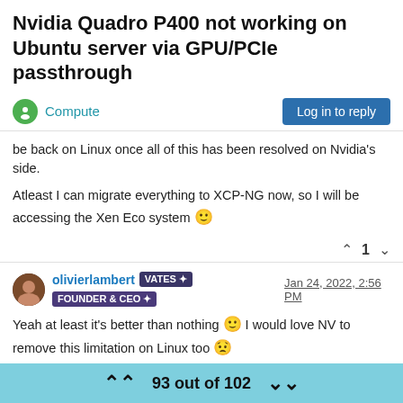Nvidia Quadro P400 not working on Ubuntu server via GPU/PCIe passthrough
be back on Linux once all of this has been resolved on Nvidia's side.
Atleast I can migrate everything to XCP-NG now, so I will be accessing the Xen Eco system 🙂
olivierlambert VATES FOUNDER & CEO Jan 24, 2022, 2:56 PM
Yeah at least it's better than nothing 🙂 I would love NV to remove this limitation on Linux too 😟
1 Reply
93 out of 102